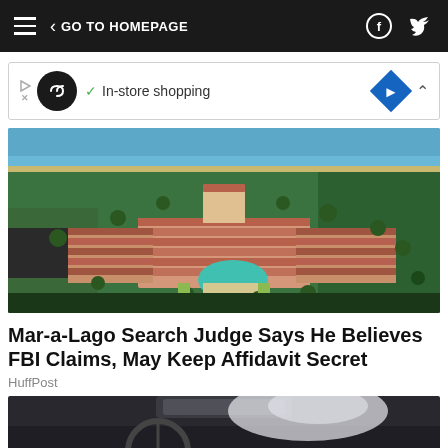GO TO HOMEPAGE
[Figure (screenshot): Advertisement banner with circular logo showing infinity symbol, checkmark, In-store shopping text, blue diamond icon]
[Figure (photo): Aerial view of Mar-a-Lago estate in Palm Beach Florida showing terracotta roofed buildings, pool, palm trees, and ocean in background]
Mar-a-Lago Search Judge Says He Believes FBI Claims, May Keep Affidavit Secret
HuffPost
[Figure (photo): Partial view of car interior, dark dashboard visible from driver perspective]